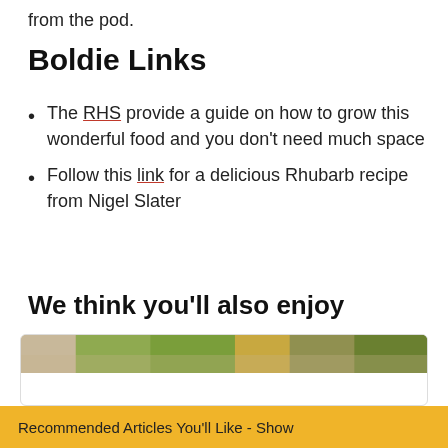from the pod.
Boldie Links
The RHS provide a guide on how to grow this wonderful food and you don't need much space
Follow this link for a delicious Rhubarb recipe from Nigel Slater
We think you'll also enjoy
[Figure (photo): Partial view of a food/vegetable photo at the top of a recommendation card]
Recommended Articles You'll Like - Show